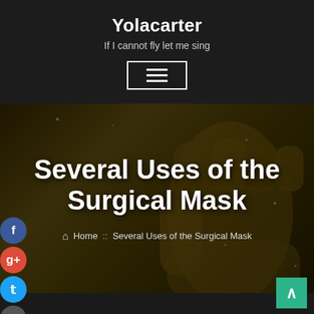Yolacarter
If I cannot fly let me sing
[Figure (screenshot): Website header with dark background showing a microphone/fist image, site title Yolacarter, tagline, and hamburger menu button]
Several Uses of the Surgical Mask
Home :: Several Uses of the Surgical Mask